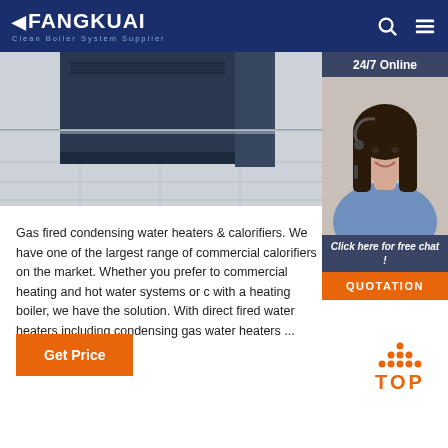FANGKUAI - Clean Boiler System Supplier
[Figure (photo): Photo of boiler/heating equipment installed on tiled floor, with dark equipment panels visible]
[Figure (photo): 24/7 Online customer service agent sidebar with woman wearing headset, Click here for free chat button, and QUOTATION button]
Gas fired condensing water heaters & calorifiers. We have one of the largest range of commercial calorifiers on the market. Whether you prefer to commercial heating and hot water systems or c with a heating boiler, we have the solution. With direct fired water heaters including condensing gas water heaters ...
Get Price
TOP